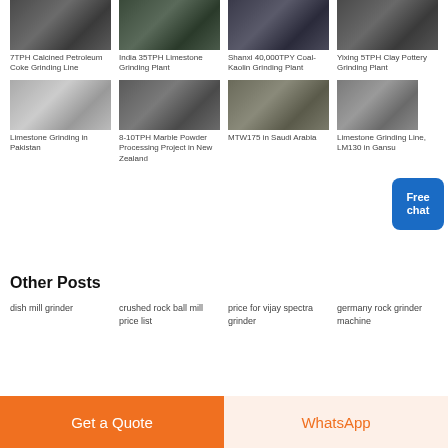[Figure (photo): 7TPH Calcined Petroleum Coke Grinding Line - industrial facility photo]
7TPH Calcined Petroleum Coke Grinding Line
[Figure (photo): India 35TPH Limestone Grinding Plant - industrial facility photo]
India 35TPH Limestone Grinding Plant
[Figure (photo): Shanxi 40,000TPY Coal-Kaolin Grinding Plant - industrial facility photo]
Shanxi 40,000TPY Coal-Kaolin Grinding Plant
[Figure (photo): Yixing 5TPH Clay Pottery Grinding Plant - industrial facility photo]
Yixing 5TPH Clay Pottery Grinding Plant
[Figure (photo): Limestone Grinding in Pakistan - industrial facility photo]
Limestone Grinding in Pakistan
[Figure (photo): 8-10TPH Marble Powder Processing Project in New Zealand - industrial facility photo]
8-10TPH Marble Powder Processing Project in New Zealand
[Figure (photo): MTW175 in Saudi Arabia - industrial facility photo]
MTW175 in Saudi Arabia
[Figure (photo): Limestone Grinding Line, LM130 in Gansu - industrial facility photo]
Limestone Grinding Line, LM130 in Gansu
Other Posts
dish mill grinder
crushed rock ball mill price list
price for vijay spectra grinder
germany rock grinder machine